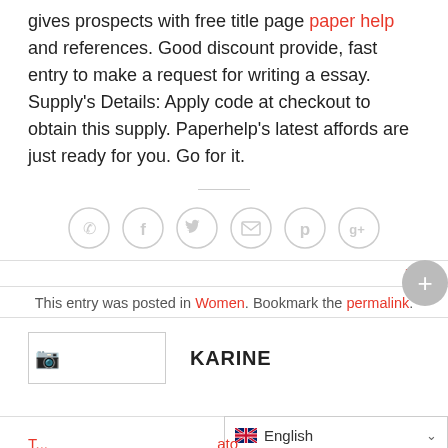gives prospects with free title page paper help and references. Good discount provide, fast entry to make a request for writing a essay. Supply's Details: Apply code at checkout to obtain this supply. Paperhelp's latest affords are just ready for you. Go for it.
[Figure (other): Social sharing icons: phone, facebook, twitter, email, pinterest, google+]
USD
This entry was posted in Women. Bookmark the permalink.
[Figure (other): Broken image placeholder with author name KARINE]
English language selector dropdown
T... ato (red partial text at bottom)